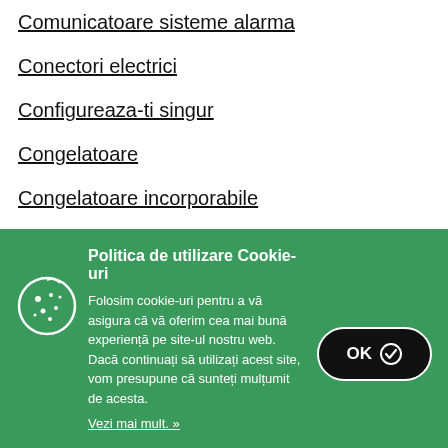Comunicatoare sisteme alarma
Conectori electrici
Configureaza-ti singur
Congelatoare
Congelatoare incorporabile
Console
Console portabile
Consumabile
Politica de utilizare Cookie-uri
Folosim cookie-uri pentru a vă asigura că vă oferim cea mai bună experiență pe site-ul nostru web. Dacă continuați să utilizați acest site, vom presupune că sunteți mulțumit de acesta.
Vezi mai mult. »
OK